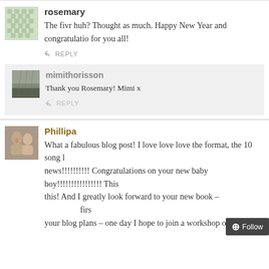rosemary
The fivr huh? Thought as much. Happy New Year and congratulations for you all!
REPLY
mimithorisson
Thank you Rosemary! Mimi x
REPLY
Phillipa
What a fabulous blog post! I love love love the format, the 10 song l... news!!!!!!!!!! Congratulations on your new baby boy!!!!!!!!!!!!!!!! This! And I greatly look forward to your new book – ... first... your blog plans – one day I hope to join a workshop o...